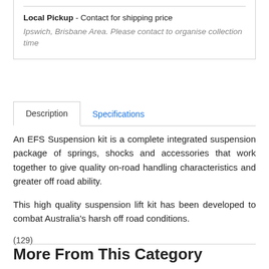Local Pickup - Contact for shipping price
Ipswich, Brisbane Area. Please contact to organise collection time
Description	Specifications
An EFS Suspension kit is a complete integrated suspension package of springs, shocks and accessories that work together to give quality on-road handling characteristics and greater off road ability.
This high quality suspension lift kit has been developed to combat Australia's harsh off road conditions.
(129)
More From This Category